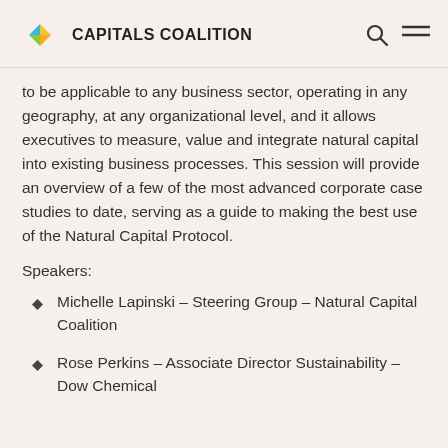CAPITALS COALITION
to be applicable to any business sector, operating in any geography, at any organizational level, and it allows executives to measure, value and integrate natural capital into existing business processes. This session will provide an overview of a few of the most advanced corporate case studies to date, serving as a guide to making the best use of the Natural Capital Protocol.
Speakers:
Michelle Lapinski – Steering Group – Natural Capital Coalition
Rose Perkins – Associate Director Sustainability – Dow Chemical